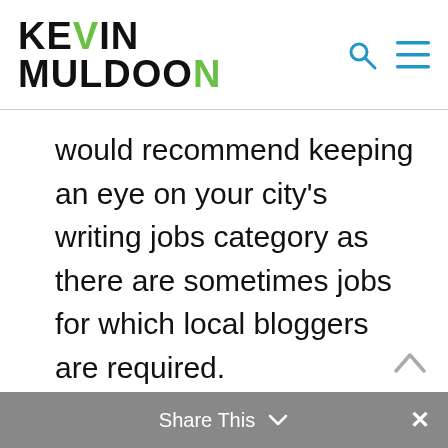Kevin Muldoon
would recommend keeping an eye on your city's writing jobs category as there are sometimes jobs for which local bloggers are required.
Share This ×